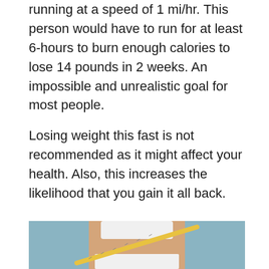running at a speed of 1 mi/hr. This person would have to run for at least 6-hours to burn enough calories to lose 14 pounds in 2 weeks. An impossible and unrealistic goal for most people.
Losing weight this fast is not recommended as it might affect your health. Also, this increases the likelihood that you gain it all back.
[Figure (photo): A person in a white sports bra and underwear measuring their waist with a yellow measuring tape, against a light blue background.]